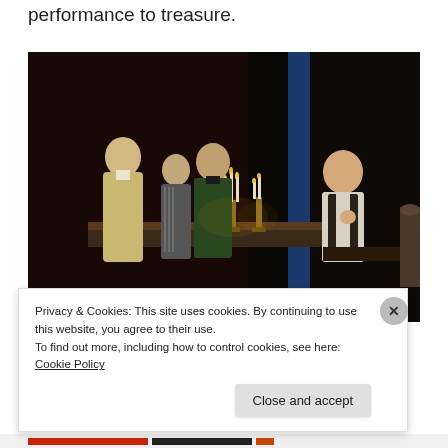performance to treasure.
[Figure (photo): Theatre stage scene with four actors in period costume around a long table with lit candelabras. One actor on the left wears a light-colored coat and faces another in green. A third stands behind. On the right, a fourth actor leans on a separate table, resting his chin on his hand, appearing contemplative. Dark stage background with a blue-lit column.]
Privacy & Cookies: This site uses cookies. By continuing to use this website, you agree to their use.
To find out more, including how to control cookies, see here: Cookie Policy
Close and accept